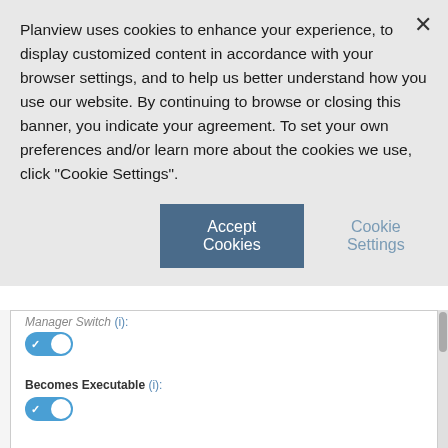Planview uses cookies to enhance your experience, to display customized content in accordance with your browser settings, and to help us better understand how you use our website. By continuing to browse or closing this banner, you indicate your agreement. To set your own preferences and/or learn more about the cookies we use, click "Cookie Settings".
[Figure (screenshot): Cookie consent banner with Accept Cookies button and Cookie Settings link, overlaying a settings panel showing toggles for Manager Switch, Becomes Executable, and a Projects section with Project Manager Changes toggle.]
Manager Switch (i):
Becomes Executable (i):
Projects
Project Manager Changes (i):